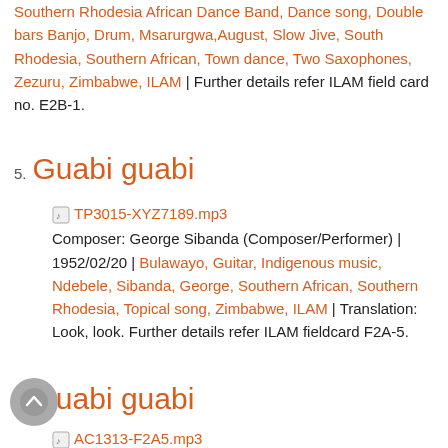Southern Rhodesia African Dance Band, Dance song, Double bars Banjo, Drum, Msarurgwa, August, Slow Jive, South Rhodesia, Southern African, Town dance, Two Saxophones, Zezuru, Zimbabwe, ILAM | Further details refer ILAM field card no. E2B-1.
5. Guabi guabi
TP3015-XYZ7189.mp3 Composer: George Sibanda (Composer/Performer) | 1952/02/20 | Bulawayo, Guitar, Indigenous music, Ndebele, Sibanda, George, Southern African, Southern Rhodesia, Topical song, Zimbabwe, ILAM | Translation: Look, look. Further details refer ILAM fieldcard F2A-5.
6. Guabi guabi
AC1313-F2A5.mp3